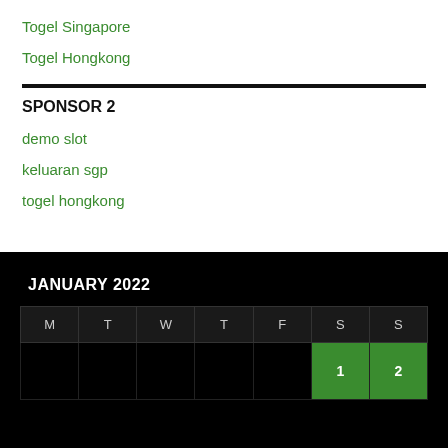Togel Singapore
Togel Hongkong
SPONSOR 2
demo slot
keluaran sgp
togel hongkong
JANUARY 2022
| M | T | W | T | F | S | S |
| --- | --- | --- | --- | --- | --- | --- |
|  |  |  |  |  | 1 | 2 |